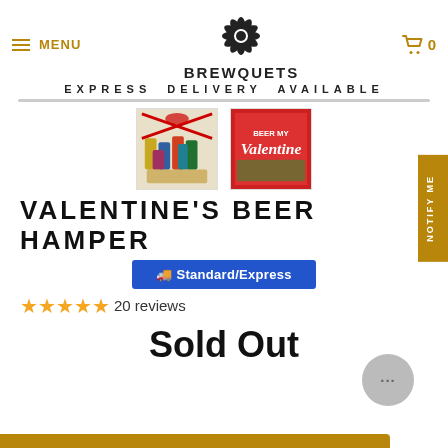MENU  BREWQUETS  0
EXPRESS DELIVERY AVAILABLE
[Figure (photo): Two product thumbnail images: left shows beer cans gift hamper with red ribbon, right shows 'Beer my Valentine' branded box]
VALENTINE'S BEER HAMPER
🚚 Standard/Express
★★★★★ 20 reviews
Sold Out